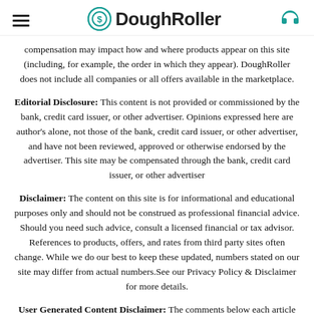DoughRoller
compensation may impact how and where products appear on this site (including, for example, the order in which they appear). DoughRoller does not include all companies or all offers available in the marketplace.
Editorial Disclosure: This content is not provided or commissioned by the bank, credit card issuer, or other advertiser. Opinions expressed here are author’s alone, not those of the bank, credit card issuer, or other advertiser, and have not been reviewed, approved or otherwise endorsed by the advertiser. This site may be compensated through the bank, credit card issuer, or other advertiser
Disclaimer: The content on this site is for informational and educational purposes only and should not be construed as professional financial advice. Should you need such advice, consult a licensed financial or tax advisor. References to products, offers, and rates from third party sites often change. While we do our best to keep these updated, numbers stated on our site may differ from actual numbers.See our Privacy Policy & Disclaimer for more details.
User Generated Content Disclaimer: The comments below each article are not provided or commissioned by the bank advertiser. Responses have not been reviewed, approved or otherwise endorsed by the bank advertiser. It is not the bank advertiser's responsibility to ensure all posts and/or questions are answered.